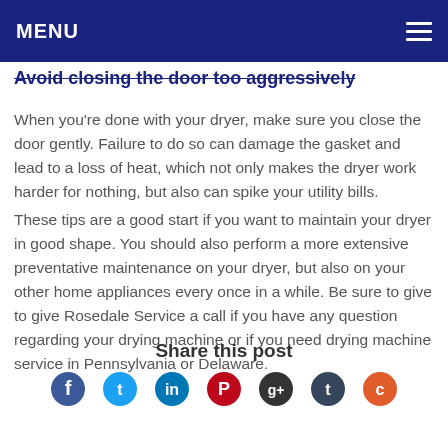MENU
Avoid closing the door too aggressively
When you're done with your dryer, make sure you close the door gently. Failure to do so can damage the gasket and lead to a loss of heat, which not only makes the dryer work harder for nothing, but also can spike your utility bills.
These tips are a good start if you want to maintain your dryer in good shape. You should also perform a more extensive preventative maintenance on your dryer, but also on your other home appliances every once in a while. Be sure to give to give Rosedale Service a call if you have any question regarding your drying machine or if you need drying machine service in Pennsylvania or Delaware.
Share this post